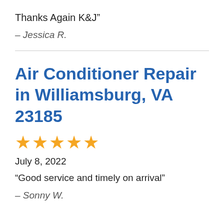Thanks Again K&J”
– Jessica R.
Air Conditioner Repair in Williamsburg, VA 23185
★★★★★
July 8, 2022
“Good service and timely on arrival”
– Sonny W.